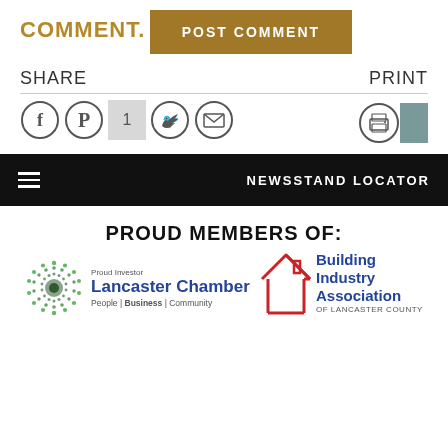COMMENT.
POST COMMENT
SHARE
PRINT
[Figure (illustration): Social share icons: Facebook, Pinterest, count badge (1), Twitter, Email, and print icon with color swatch]
NEWSSTAND LOCATOR
PROUD MEMBERS OF:
[Figure (logo): Lancaster Chamber of Commerce logo - Proud Investor badge with circular dot pattern and text: Lancaster Chamber, People | Business | Community]
[Figure (logo): Building Industry Association of Lancaster County logo with red house outline graphic]